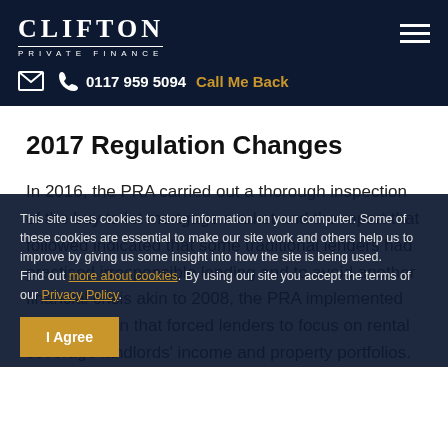CLIFTON PRIVATE FINANCE | 0117 959 5094 | Call Me Back
2017 Regulation Changes
In 2016, the PRA carried out a thorough inspection of the buy to let mortgage market and the report that followed indicated that some traditional lenders had practised irresponsible lending and to avoid another financial crisis akin to 2008, the PRA implemented the regulation that forced lenders to focus on rental coverage landlords' income and property portfolios.
This site uses cookies to store information on your computer. Some of these cookies are essential to make our site work and others help us to improve by giving us some insight into how the site is being used. Find out more about cookies. By using our site you accept the terms of our Privacy Policy.
I Agree